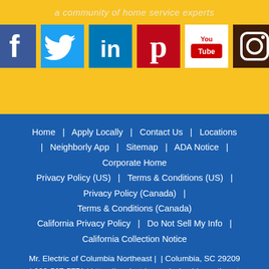a community of home service experts
[Figure (illustration): Six social media icons in a row: Facebook (blue), Twitter (blue), LinkedIn (blue), Pinterest (red), YouTube (white/red), Instagram (brown/dark)]
Home | Apply Locally | Contact Us | Locations | Neighborly App | Sitemap | ADA Notice | Corporate Home
Privacy Policy (US) | Terms & Conditions (US) | Privacy Policy (Canada) | Terms & Conditions (Canada)
California Privacy Policy | Do Not Sell My Info | California Collection Notice
Mr. Electric of Columbia Northeast | | Columbia, SC 29209 | 803-567-5771 | https://mrelectric.com/columbia-northeast |